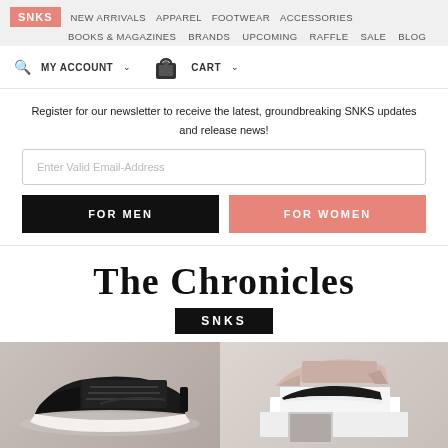SNKS | NEW ARRIVALS  APPAREL  FOOTWEAR  ACCESSORIES  BOOKS & MAGAZINES  BRANDS  UPCOMING  RAFFLE  SALE  BLOG
🔍  MY ACCOUNT ∨    [bag icon]  CART ∨
Register for our newsletter to receive the latest, groundbreaking SNKS updates and release news!
Enter Valid Email-Address
FOR MEN
FOR WOMEN
The Chronicles
SNKS
[Figure (photo): Two photos of sneakers: left shows a black low-top sneaker (Jordan 11 style) on a light background; right shows two sneakers stacked/arranged on white blocks against a light background.]